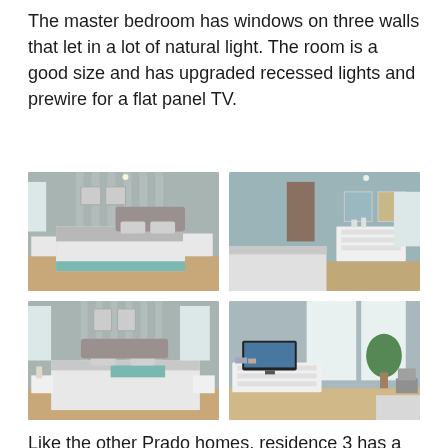The master bedroom has windows on three walls that let in a lot of natural light. The room is a good size and has upgraded recessed lights and prewire for a flat panel TV.
[Figure (photo): Master bedroom photo showing bed with white and teal bedding, striped wallpaper accent wall, artwork, and white dresser]
[Figure (photo): Master bedroom photo showing white dresser with artwork above it, blue-green walls, and foot of bed]
[Figure (photo): Master bedroom photo showing bed from foot, windows with natural light, white nightstands, and striped accent wall]
[Figure (photo): Master bedroom photo showing flat panel TV on white dresser, windows with bright natural light, plant, and chair]
Like the other Prado homes, residence 3 has a third story. There is a hallway along the stairs shown with a large storage